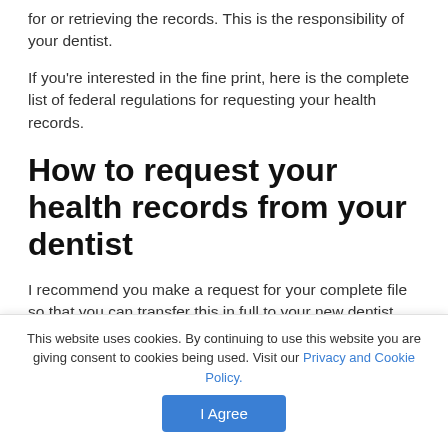for or retrieving the records. This is the responsibility of your dentist.
If you're interested in the fine print, here is the complete list of federal regulations for requesting your health records.
How to request your health records from your dentist
I recommend you make a request for your complete file so that you can transfer this in full to your new dentist.
You can ask for any or all types of information in your
This website uses cookies. By continuing to use this website you are giving consent to cookies being used. Visit our Privacy and Cookie Policy.